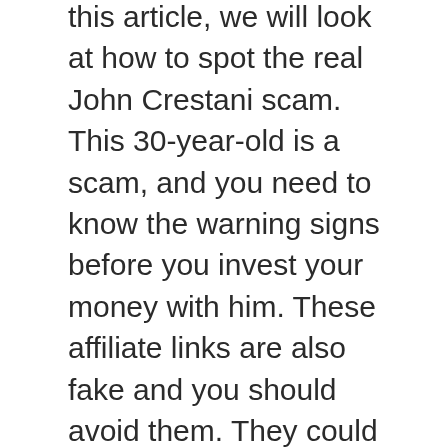this article, we will look at how to spot the real John Crestani scam. This 30-year-old is a scam, and you need to know the warning signs before you invest your money with him. These affiliate links are also fake and you should avoid them. They could be an indicator of fraud.
Crestani’s promises are not to be believed. He has been featured on Forbes and Yahoo Finance, and has been in many other media outlets. He is a genuine product. But not everyone who attempts this program succeeds. This is why you should do your research and check out other testimonials before purchasing his affiliate program. While you may be able make some money, it’s not likely that you’ll make the same